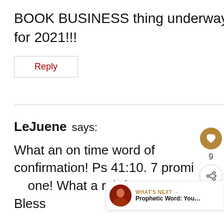BOOK BUSINESS thing underway for 2021!!!
Reply
LeJuene says:
What an on time word of confirmation! Ps 41:10. 7 promi... one! What a reinforcement. Hou Bless